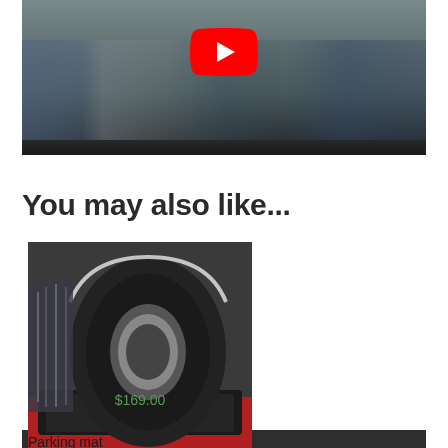[Figure (screenshot): YouTube video thumbnail showing people working in what appears to be an automotive/garage setting, with a YouTube play button overlay. A dark control bar runs across the bottom.]
You may also like...
[Figure (photo): Product photo showing a tire resting on a black rubber Bump N Stop block, placed on a red floor/mat.]
Bump N Stop
$169.00
Parking mat